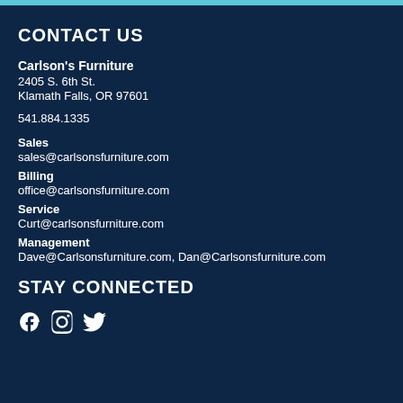CONTACT US
Carlson's Furniture
2405 S. 6th St.
Klamath Falls, OR 97601
541.884.1335
Sales
sales@carlsonsfurniture.com
Billing
office@carlsonsfurniture.com
Service
Curt@carlsonsfurniture.com
Management
Dave@Carlsonsfurniture.com, Dan@Carlsonsfurniture.com
STAY CONNECTED
[Figure (other): Social media icons: Facebook, Instagram, Twitter]